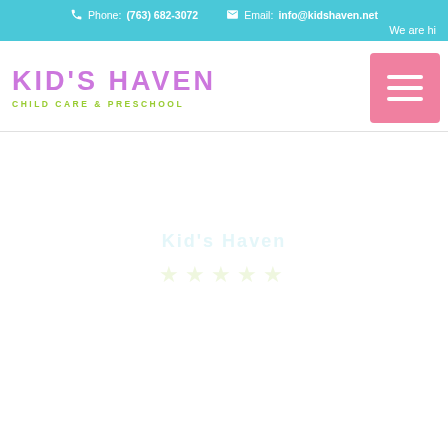Phone: (763) 682-3072   Email: info@kidshaven.net   We are hi
KID'S HAVEN
CHILD CARE & PRESCHOOL
[Figure (other): Pink hamburger/menu button with three white horizontal bars]